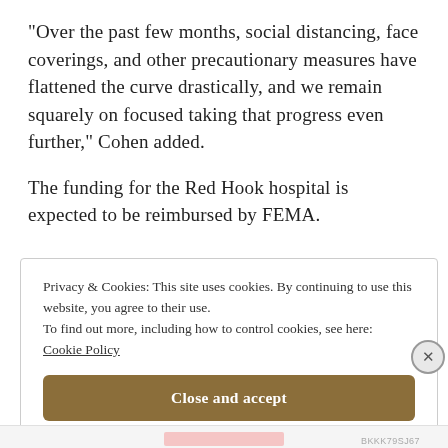“Over the past few months, social distancing, face coverings, and other precautionary measures have flattened the curve drastically, and we remain squarely on focused taking that progress even further,” Cohen added.
The funding for the Red Hook hospital is expected to be reimbursed by FEMA.
Privacy & Cookies: This site uses cookies. By continuing to use this website, you agree to their use.
To find out more, including how to control cookies, see here:
Cookie Policy
Close and accept